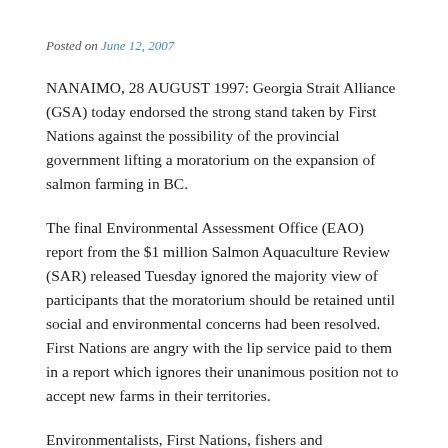Posted on June 12, 2007
NANAIMO, 28 AUGUST 1997: Georgia Strait Alliance (GSA) today endorsed the strong stand taken by First Nations against the possibility of the provincial government lifting a moratorium on the expansion of salmon farming in BC.
The final Environmental Assessment Office (EAO) report from the $1 million Salmon Aquaculture Review (SAR) released Tuesday ignored the majority view of participants that the moratorium should be retained until social and environmental concerns had been resolved. First Nations are angry with the lip service paid to them in a report which ignores their unanimous position not to accept new farms in their territories.
Environmentalists, First Nations, fishers and recreationalists who participated in the review denounce the provincial government's rejection of their joint call for